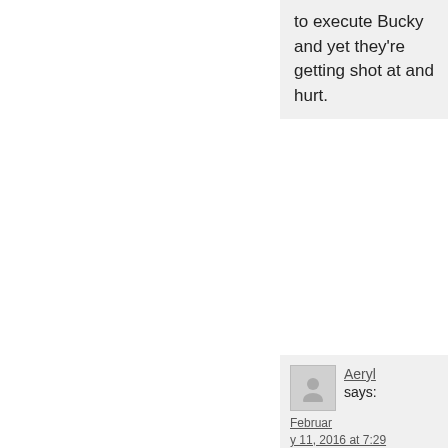to execute Bucky and yet they're getting shot at and hurt.
Aeryl says:
February 11, 2016 at 7:29 am
when (acc. to the trailers) they aren't pushing for/supporting